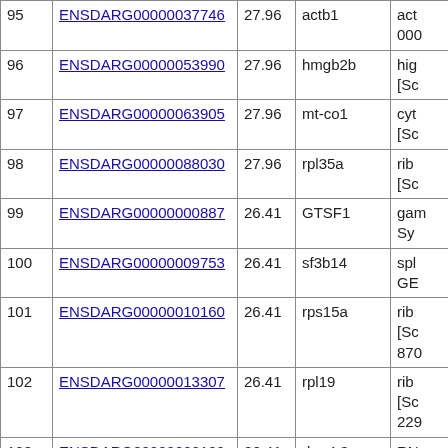| # | Gene ID | Score | Symbol | Description |
| --- | --- | --- | --- | --- |
| 95 | ENSDARG00000037746 | 27.96 | actb1 | act... 000... |
| 96 | ENSDARG00000053990 | 27.96 | hmgb2b | hig... [Sc... |
| 97 | ENSDARG00000063905 | 27.96 | mt-co1 | cyt... [Sc... |
| 98 | ENSDARG00000088030 | 27.96 | rpl35a | rib... [Sc... |
| 99 | ENSDARG00000000887 | 26.41 | GTSF1 | gam... Sy... |
| 100 | ENSDARG00000009753 | 26.41 | sf3b14 | spl... GE... |
| 101 | ENSDARG00000010160 | 26.41 | rps15a | rib... [Sc... 870... |
| 102 | ENSDARG00000013307 | 26.41 | rpl19 | rib... [Sc... 229... |
| 103 | ENSDARG00000022129 | 26.41 | rbm4.3 | RN... [Sc... 193... |
| 104 | ENSDARG00000023298 | 26.41 | rps27.1 | rib... |